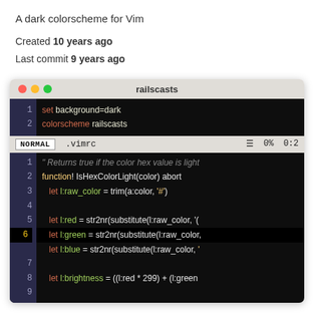A dark colorscheme for Vim
Created 10 years ago
Last commit 9 years ago
[Figure (screenshot): Terminal window titled 'railscasts' showing Vim editor with dark railscasts colorscheme. Top pane shows .vimrc with 'set background=dark' and 'colorscheme railscasts'. Bottom pane shows VimScript code including a function IsHexColorLight with variables for red, green, blue, and brightness.]